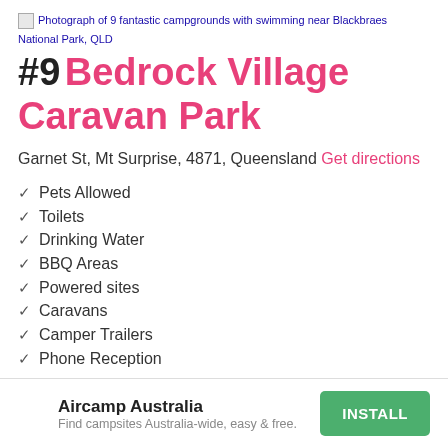[Figure (photo): Photograph of 9 fantastic campgrounds with swimming near Blackbraes National Park, QLD]
#9 Bedrock Village Caravan Park
Garnet St, Mt Surprise, 4871, Queensland Get directions
✓ Pets Allowed
✓ Toilets
✓ Drinking Water
✓ BBQ Areas
✓ Powered sites
✓ Caravans
✓ Camper Trailers
✓ Phone Reception
Aircamp Australia Find campsites Australia-wide, easy & free.